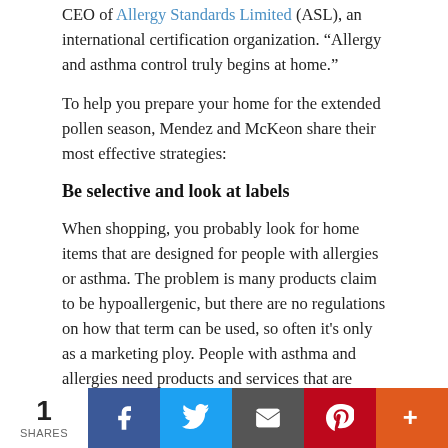CEO of Allergy Standards Limited (ASL), an international certification organization. “Allergy and asthma control truly begins at home.”
To help you prepare your home for the extended pollen season, Mendez and McKeon share their most effective strategies:
Be selective and look at labels
When shopping, you probably look for home items that are designed for people with allergies or asthma. The problem is many products claim to be hypoallergenic, but there are no regulations on how that term can be used, so often it’s only as a marketing ploy. People with asthma and allergies need products and services that are backed by science because their health depends on it.
The asthma & allergy friendly® Certification Program is a unique, groundbreaking collaboration between AAFA and
1 SHARES | Facebook | Twitter | Email | Pinterest | More